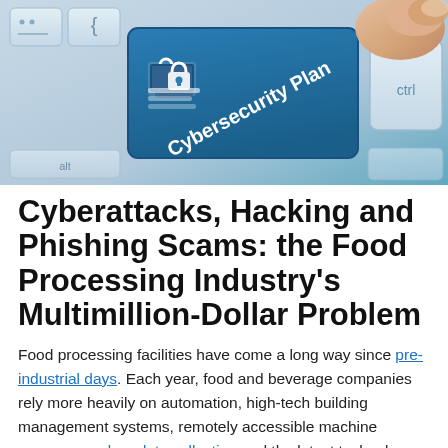[Figure (photo): Close-up photo of a keyboard with a blue key labeled 'Cybersecurity Plan' featuring a lock icon, and a finger pressing the ctrl key on the right. The keys have a light blue-grey color scheme.]
Cyberattacks, Hacking and Phishing Scams: the Food Processing Industry's Multimillion-Dollar Problem
Food processing facilities have come a long way since pre-industrial days. Each year, food and beverage companies rely more heavily on automation, high-tech building management systems, remotely accessible machine sensors, modern data collection and the latest technology. While these innovations can help facilities run